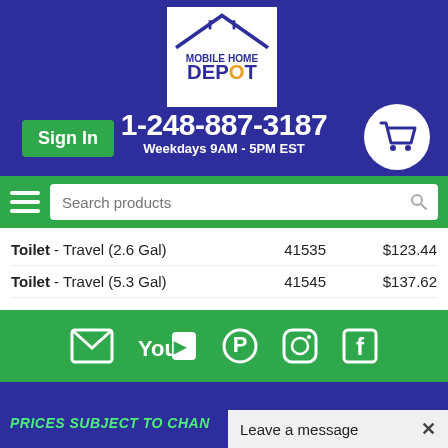[Figure (logo): Mobile Home Depot logo - house outline with MOBILE HOME DEPOT text]
Sign In
1-248-887-3187
Weekdays 9AM - 5PM EST
[Figure (illustration): Shopping cart icon in white circle]
[Figure (illustration): Hamburger menu icon and search products input bar]
| Product | SKU | Price |
| --- | --- | --- |
| Toilet - Travel (2.6 Gal) | 41535 | $123.44 |
| Toilet - Travel (5.3 Gal) | 41545 | $137.62 |
[Figure (illustration): Social media icons: email, YouTube, Pinterest, Instagram, Facebook]
PRICES SUBJECT TO CHAN...
Leave a message